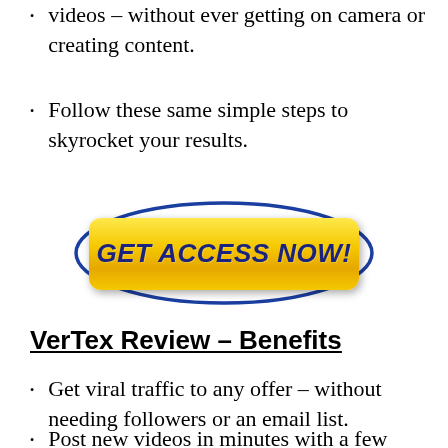videos – without ever getting on camera or creating content.
Follow these same simple steps to skyrocket your results.
[Figure (illustration): Yellow button with dark blue bold italic text reading GET ACCESS NOW! surrounded by a blue oval outline on white background]
VerTex Review – Benefits
Get viral traffic to any offer – without needing followers or an email list.
Post new videos in minutes with a few